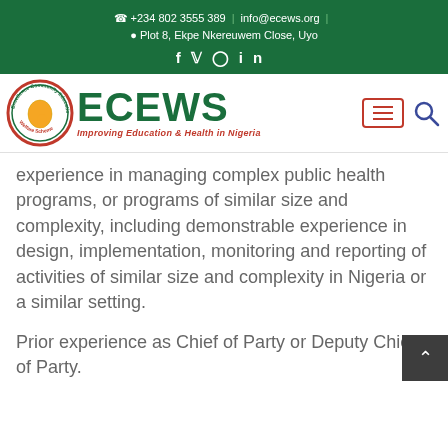+234 802 3555 389 | info@ecews.org | Plot 8, Ekpe Nkereuwem Close, Uyo
[Figure (logo): ECEWS logo with circular emblem showing Africa map, and text 'ECEWS Improving Education & Health in Nigeria']
experience in managing complex public health programs, or programs of similar size and complexity, including demonstrable experience in design, implementation, monitoring and reporting of activities of similar size and complexity in Nigeria or a similar setting.
Prior experience as Chief of Party or Deputy Chief of Party.